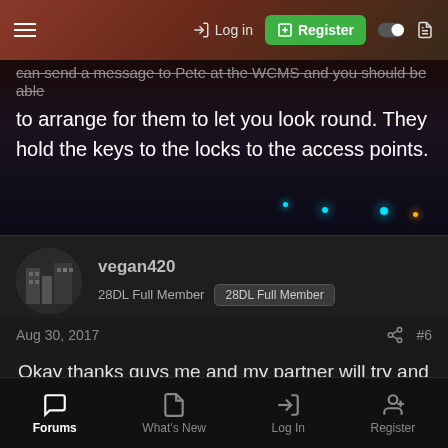Log in | Register
can send a message to Pete at the WCMS and you should be able to arrange for them to let you look round. They hold the keys to the locks to the access points.
vegan420
28DL Full Member  [28DL Full Member]
Aug 30, 2017  #6
Okay thanks guys me and my partner will try and get in touch. Cheers
You must log in or register to reply here.
Forums  What's New  Log In  Register